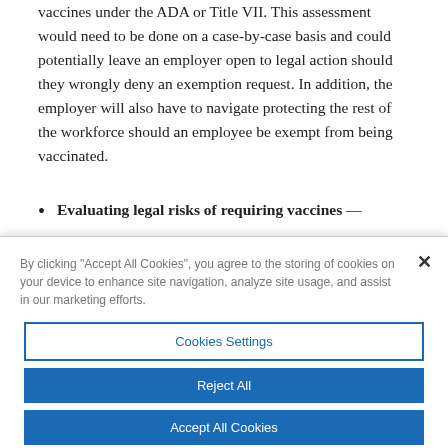vaccines under the ADA or Title VII. This assessment would need to be done on a case-by-case basis and could potentially leave an employer open to legal action should they wrongly deny an exemption request. In addition, the employer will also have to navigate protecting the rest of the workforce should an employee be exempt from being vaccinated.
Evaluating legal risks of requiring vaccines —
By clicking "Accept All Cookies", you agree to the storing of cookies on your device to enhance site navigation, analyze site usage, and assist in our marketing efforts.
Cookies Settings
Reject All
Accept All Cookies